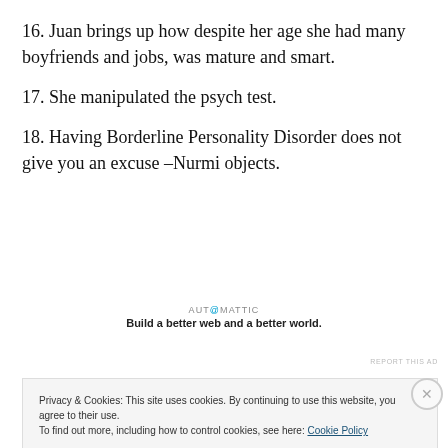16. Juan brings up how despite her age she had many boyfriends and jobs, was mature and smart.
17. She manipulated the psych test.
18. Having Borderline Personality Disorder does not give you an excuse –Nurmi objects.
[Figure (other): Automattic advertisement banner: 'AUT@MATTIC — Build a better web and a better world.']
REPORT THIS AD
Privacy & Cookies: This site uses cookies. By continuing to use this website, you agree to their use. To find out more, including how to control cookies, see here: Cookie Policy